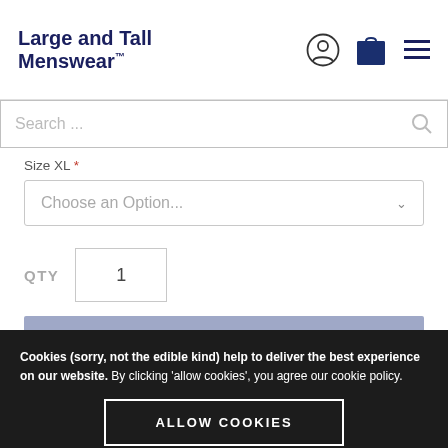Large and Tall Menswear™
Search ...
Size XL *
Choose an Option...
QTY  1
ADD TO BASKET
Cookies (sorry, not the edible kind) help to deliver the best experience on our website. By clicking 'allow cookies', you agree our cookie policy.
ALLOW COOKIES